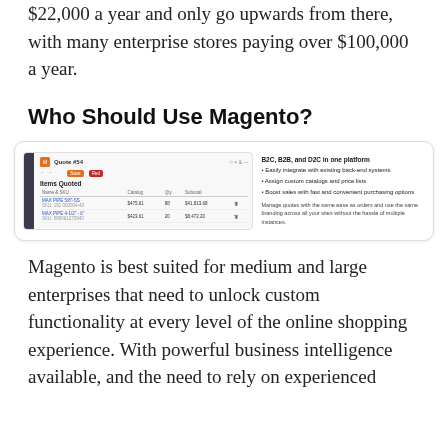$22,000 a year and only go upwards from there, with many enterprise stores paying over $100,000 a year.
Who Should Use Magento?
[Figure (screenshot): Screenshot of Magento admin UI showing a quote page with items quoted table on the left, and on the right a description of B2C, B2B, and D2C in one platform features including bullet points and a paragraph about managing quotes.]
Magento is best suited for medium and large enterprises that need to unlock custom functionality at every level of the online shopping experience. With powerful business intelligence available, and the need to rely on experienced